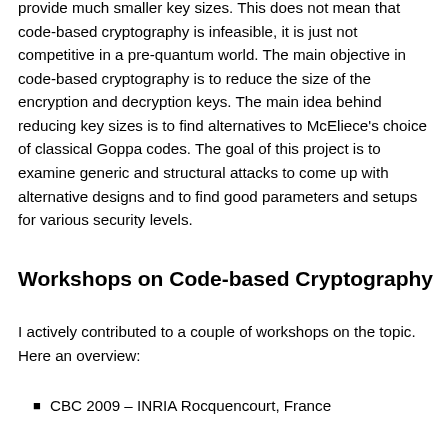provide much smaller key sizes. This does not mean that code-based cryptography is infeasible, it is just not competitive in a pre-quantum world. The main objective in code-based cryptography is to reduce the size of the encryption and decryption keys. The main idea behind reducing key sizes is to find alternatives to McEliece's choice of classical Goppa codes. The goal of this project is to examine generic and structural attacks to come up with alternative designs and to find good parameters and setups for various security levels.
Workshops on Code-based Cryptography
I actively contributed to a couple of workshops on the topic. Here an overview:
CBC 2009 – INRIA Rocquencourt, France